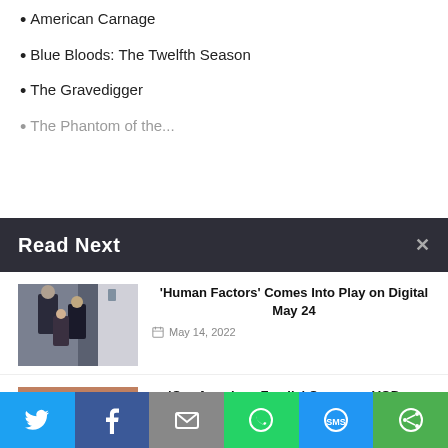American Carnage
Blue Bloods: The Twelfth Season
The Gravedigger
The Phantom of the...
Read Next
[Figure (photo): Movie still showing figures in dark clothing indoors]
'Human Factors' Comes Into Play on Digital May 24
May 14, 2022
[Figure (photo): Family scene photo indoors]
'Our American Family' Opens on VOD on Sept. 6
August 12, 2022